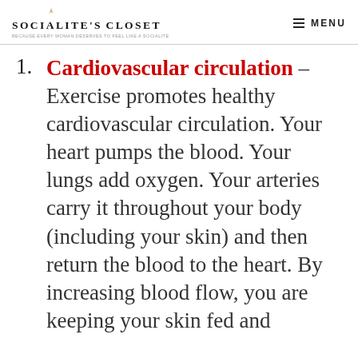SOCIALITE'S CLOSET — because every woman deserves to feel like a socialite — MENU
Cardiovascular circulation – Exercise promotes healthy cardiovascular circulation. Your heart pumps the blood. Your lungs add oxygen. Your arteries carry it throughout your body (including your skin) and then return the blood to the heart. By increasing blood flow, you are keeping your skin fed and